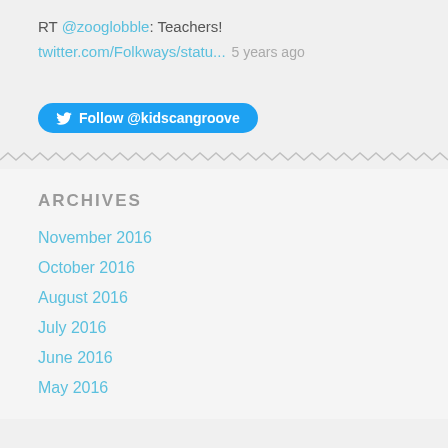RT @zooglobble: Teachers!
twitter.com/Folkways/statu...  5 years ago
Follow @kidscangroove
ARCHIVES
November 2016
October 2016
August 2016
July 2016
June 2016
May 2016